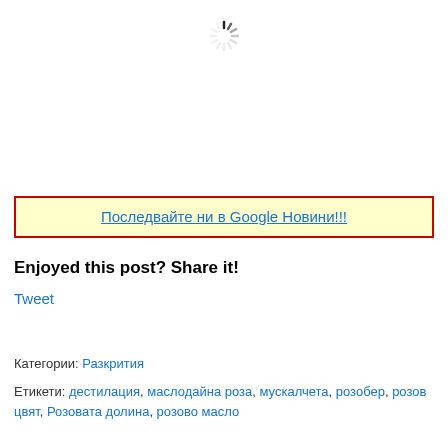[Figure (other): Loading spinner / activity indicator in gray]
Последвайте ни в Google Новини!!!
Enjoyed this post? Share it!
Tweet
Категории: Разкрития
Етикети: дестилация, маслодайна роза, мускалчета, розобер, розов цвят, Розовата долина, розово масло